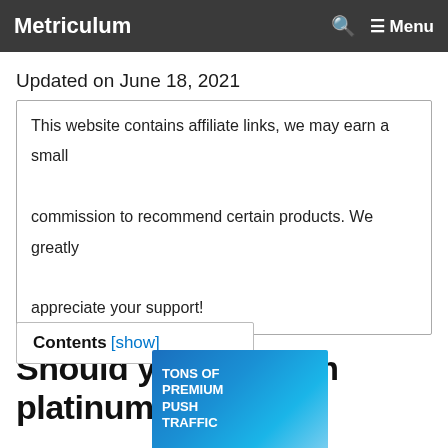Metriculum  🔍  ☰ Menu
Updated on June 18, 2021
This website contains affiliate links, we may earn a small commission to recommend certain products. We greatly appreciate your support!
Should you invest in platinum?
Contents [show]
[Figure (other): Advertisement banner: RollerAds - Global Ad Reach. Blue background with 'TONS OF PREMIUM PUSH TRAFFIC' text and woman figure.]
Ad